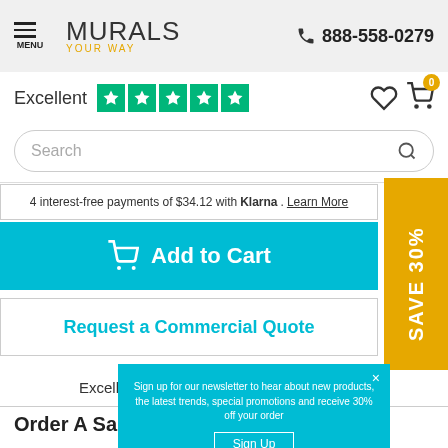MENU | MURALS YOUR WAY | 888-558-0279
Excellent ★★★★★
Search
4 interest-free payments of $34.12 with Klarna. Learn More
SAVE 30%
Add to Cart
Request a Commercial Quote
Excellent ★★★★★ Trustpilot
Order A Sample
Sign up for our newsletter to hear about new products, the latest trends, special promotions and receive 30% off your order.
Sign Up
No thanks